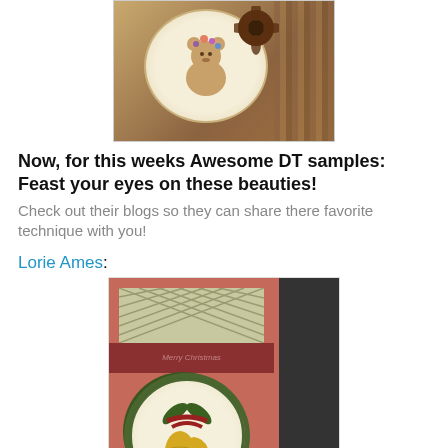[Figure (photo): Craft card with teddy bear holding flowers, brown plaid background, decorative flower embellishments]
Now, for this weeks Awesome DT samples: Feast your eyes on these beauties!
Check out their blogs so they can share there favorite technique with you!
Lorie Ames:
[Figure (photo): Christmas handmade card with bells and holly, argyle pattern, red banner, dark green scalloped border]